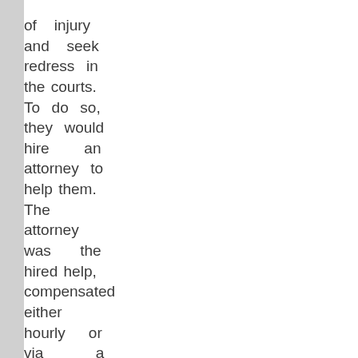of injury and seek redress in the courts. To do so, they would hire an attorney to help them. The attorney was the hired help, compensated either hourly or via a percentage of any awards. To the